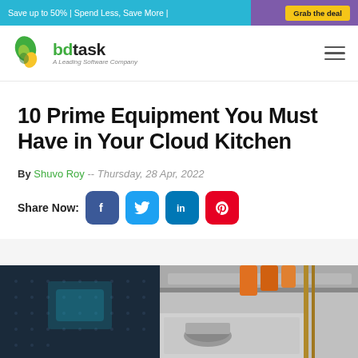Save up to 50% | Spend Less, Save More | Grab the deal
[Figure (logo): bdtask logo - A Leading Software Company]
10 Prime Equipment You Must Have in Your Cloud Kitchen
By Shuvo Roy -- Thursday, 28 Apr, 2022
Share Now: [Facebook] [Twitter] [LinkedIn] [Pinterest]
[Figure (photo): Commercial cloud kitchen interior with cooking equipment, stainless steel surfaces, and orange containers]